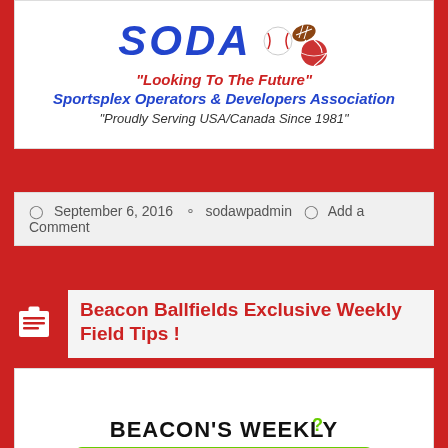[Figure (logo): SODA logo with sports balls (baseball, football, volleyball), red and blue colors]
SODA
"Looking To The Future"
Sportsplex Operators & Developers Association
"Proudly Serving USA/Canada Since 1981"
September 6, 2016   sodawpadmin   Add a Comment
Beacon Ballfields Exclusive Weekly Field Tips !
[Figure (logo): Beacon's Weekly Exclusives logo with green outline and white text, tagline 'from the Ultimate Ballfield Resource']